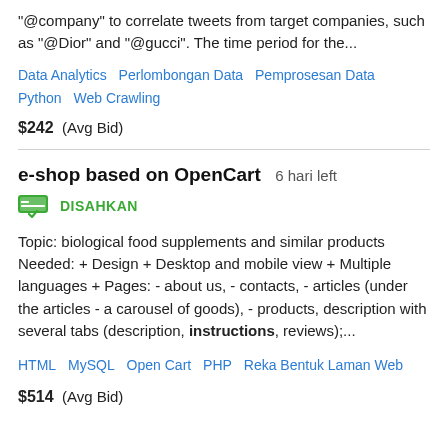"@company" to correlate tweets from target companies, such as "@Dior" and "@gucci". The time period for the...
Data Analytics   Perlombongan Data   Pemprosesan Data   Python   Web Crawling
$242  (Avg Bid)
e-shop based on OpenCart  6 hari left
DISAHKAN
Topic: biological food supplements and similar products Needed: + Design + Desktop and mobile view + Multiple languages + Pages: - about us, - contacts, - articles (under the articles - a carousel of goods), - products, description with several tabs (description, instructions, reviews);...
HTML   MySQL   Open Cart   PHP   Reka Bentuk Laman Web
$514  (Avg Bid)